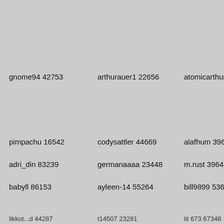gnome94 42753
arthurauer1 22656
atomicarthur 41457
m...
pimpachu 16542
codysattler 44669
alafhum 39629
je...
adri_din 83239
germanaaaa 23448
m.rust 39644
a...
babyll 86153
ayleen-14 55264
bill9899 53655
a...
...likkot...d 44287
...t14507 23281
...lit 673 67348